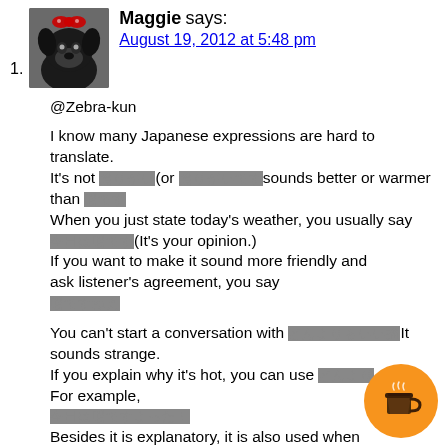1. Maggie says: August 19, 2012 at 5:48 pm
@Zebra-kun

I know many Japanese expressions are hard to translate.
It's not [jp](or [jp]sounds better or warmer than [jp]
When you just state today's weather, you usually say
[jp](It's your opinion.)
If you want to make it sound more friendly and ask listener's agreement, you say
[jp]

You can't start a conversation with [jp]It sounds strange.
If you explain why it's hot, you can use [jp]
For example,
[jp]
Besides it is explanatory, it is also used when you make your point so that it sounds stronger than [jp]